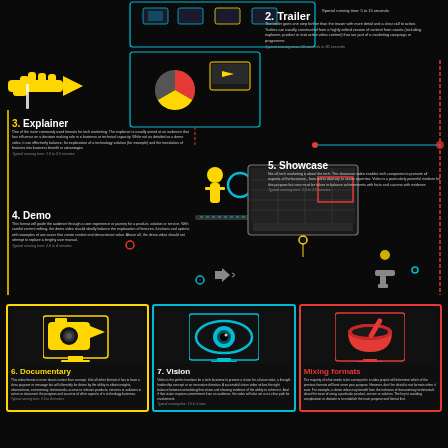[Figure (infographic): Infographic showing 7 tech video marketing formats on dark background with colored icons and connector lines. Formats: Trailer, Explainer, Demo, Showcase, Documentary, Vision, Mixing Formats.]
2. Trailer
The trailer goes one step further than the teaser with more detail and a clear call to action. Trailers are usually constructed from a highly edited version of content from assets (including explainer, product or instructive video content) that are part of a marketing campaign or programme. Typical running time: 10 seconds to 60 seconds
3. Explainer
One of the more commonly used formats for tech marketing. The explainer is usually aimed at an audience that has influence on a decision making role in a business or technical capacity. While not as detailed as a demo video, it can effectively balance, for explanation of a technology solution (for example) and the translation of features into business benefit or advantages. Typical running time: 1.5 to 2.5 minutes
4. Demo
This format will guide the audience through a user experience or journey for a product, solution or service. With careful content editing, the demo video should ideally balance the explanation of features, functions and options with examples of use cases that create context and demonstrate value. Above all, the demo video should not attempt to replace a lengthy user manual. Typical running time: 2.5 to 4 minutes
5. Showcase
Not all tech marketing is about the tech. The showcase video enables tech companies to promote all aspects of the business - from talent diversity to sector expertise. Video is a particularly powerful medium for this purpose but care must be taken to balance achievements with facts and success with evidence. Typical running time: 1.5 to 2.5 minutes
6. Documentary
This video format is more about context than concept. Like all other formats it has to have a clear purpose or message but will ultimately be driven by the ability to obtain insights, observations, commentary, testimonials, access to relevant products, services or solutions in action or document the progress and success of other aspects of a technology business. Typical running time: 2.5 to 4 minutes
7. Vision
Video is the perfect medium for a tech business to present a vision for a future state, a thought leadership concept or an innovative direction. A successful vision video strikes the right balance between articulating that vision and showing evidence of the ability to achieve it. And if that vision requires commitment from an audience, the video will also set out a clear path for involvement. Typical running time: 1.5 to 3 mins
Mixing formats
The majority of what needs to be conveyed in a video project will determine which of the previous formats will best serve your purpose. However, don't be afraid to mix formats when it suits. For example, a demo video may benefit from the inclusion of documentary testimonials about the ease of using a particular product, service or solution. The key to avoiding complication or distaste is to establish the main purpose and format first.